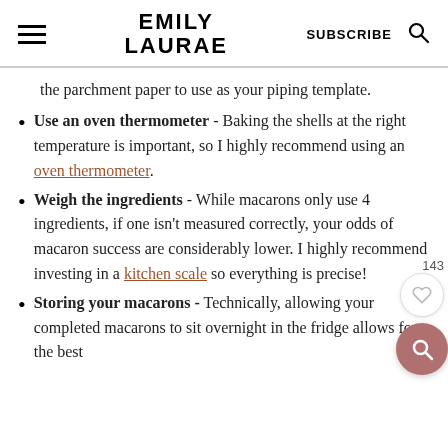EMILY LAURAE | SUBSCRIBE
the parchment paper to use as your piping template.
Use an oven thermometer - Baking the shells at the right temperature is important, so I highly recommend using an oven thermometer.
Weigh the ingredients - While macarons only use 4 ingredients, if one isn't measured correctly, your odds of macaron success are considerably lower. I highly recommend investing in a kitchen scale so everything is precise!
Storing your macarons - Technically, allowing your completed macarons to sit overnight in the fridge allows for the best